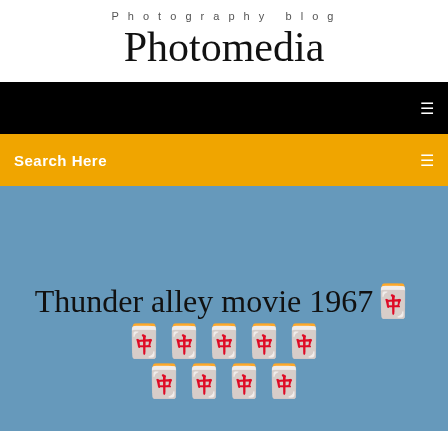Photography blog
Photomedia
[Figure (screenshot): Black navigation bar with a white menu icon on the right]
[Figure (screenshot): Yellow/orange search bar with 'Search Here' text in white bold and a search icon on the right]
Thunder alley movie 1967🀄🀄🀄🀄🀄🀄🀄🀄🀄